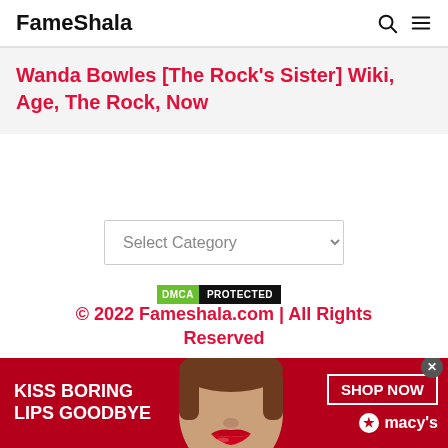FameShala
Wanda Bowles [The Rock's Sister] Wiki, Age, The Rock, Now
[Figure (other): Select Category dropdown widget]
© 2022 Fameshala.com | All Rights Reserved
[Figure (infographic): Macy's advertisement banner: KISS BORING LIPS GOODBYE, SHOP NOW, macy's logo with red star]